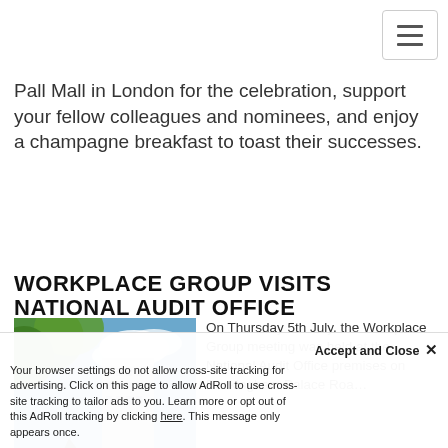[Figure (screenshot): Hamburger menu navigation button in top right corner]
Pall Mall in London for the celebration, support your fellow colleagues and nominees, and enjoy a champagne breakfast to toast their successes.
WORKPLACE GROUP VISITS NATIONAL AUDIT OFFICE
[Figure (photo): Photo of the National Audit Office building with trees and blue sky in foreground]
On Thursday 5th July, the Workplace Group meeting was held at the National Audit Office premises on Buckingham Palace Roa... National...
Accept and Close ✕
Your browser settings do not allow cross-site tracking for advertising. Click on this page to allow AdRoll to use cross-site tracking to tailor ads to you. Learn more or opt out of this AdRoll tracking by clicking here. This message only appears once.